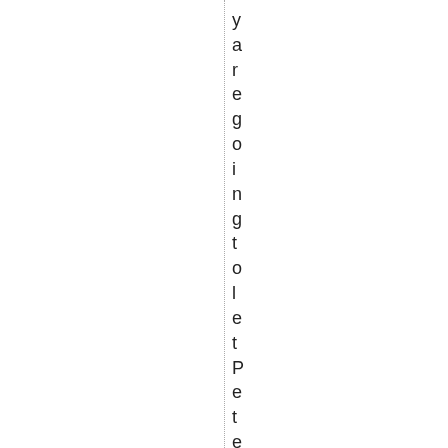y
a
r
e
g
o
i
n
g
t
o
l
e
t
P
e
t
e
r
s
o
n
'
s
t